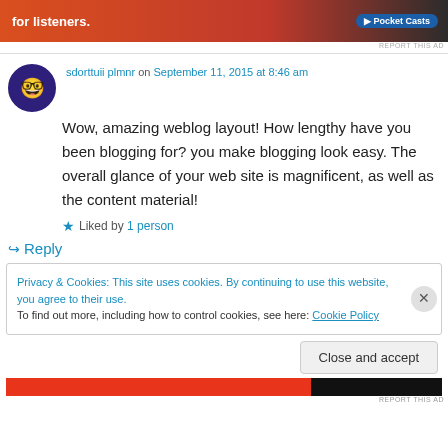[Figure (screenshot): Ad banner strip at top with orange/red gradient and Pocket Casts logo on right]
REPORT THIS AD
sdorttuii plmnr on September 11, 2015 at 8:46 am
Wow, amazing weblog layout! How lengthy have you been blogging for? you make blogging look easy. The overall glance of your web site is magnificent, as well as the content material!
Liked by 1 person
Reply
Privacy & Cookies: This site uses cookies. By continuing to use this website, you agree to their use.
To find out more, including how to control cookies, see here: Cookie Policy
Close and accept